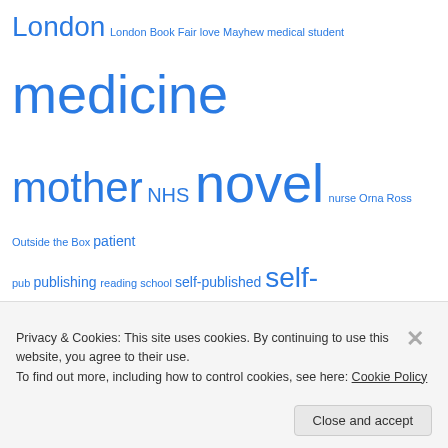London London Book Fair love Mayhew medical student medicine mother NHS novel nurse Orna Ross Outside the Box patient pub publishing reading school self-published self-publishing sex Shopping Social media Student summer Surgery swan symptoms Washington DC writer writers writing
author member, alliance of independent authors
[Figure (logo): Alliance of Independent Authors badge/seal with green and gold colors]
Privacy & Cookies: This site uses cookies. By continuing to use this website, you agree to their use. To find out more, including how to control cookies, see here: Cookie Policy